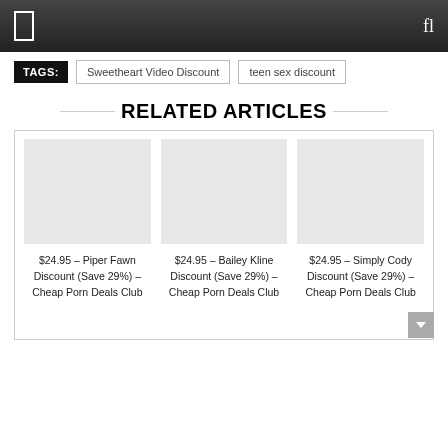TAGS: Sweetheart Video Discount | teen sex discount
RELATED ARTICLES
$24.95 – Piper Fawn Discount (Save 29%) – Cheap Porn Deals Club
$24.95 – Bailey Kline Discount (Save 29%) – Cheap Porn Deals Club
$24.95 – Simply Cody Discount (Save 29%) – Cheap Porn Deals Club